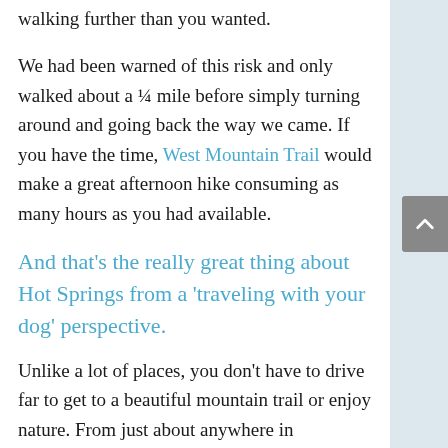walking further than you wanted.
We had been warned of this risk and only walked about a ¼ mile before simply turning around and going back the way we came. If you have the time, West Mountain Trail would make a great afternoon hike consuming as many hours as you had available.
And that's the really great thing about Hot Springs from a 'traveling with your dog' perspective.
Unlike a lot of places, you don't have to drive far to get to a beautiful mountain trail or enjoy nature. From just about anywhere in downtown you're just